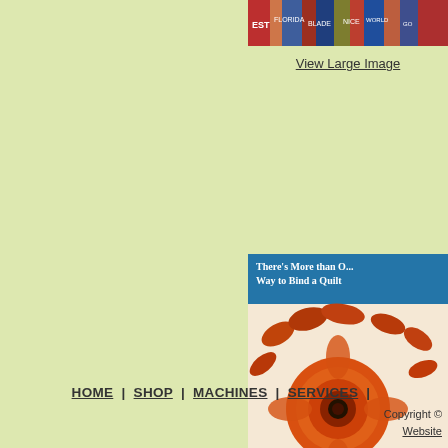[Figure (photo): Cropped image of colorful fabric/sign strips at top right]
View Large Image
[Figure (photo): Book cover: There's More than One Way to Bind a Quilt, showing a flower on quilt binding]
View Large Image
HOME | SHOP | MACHINES | SERVICES |
Copyright © Website